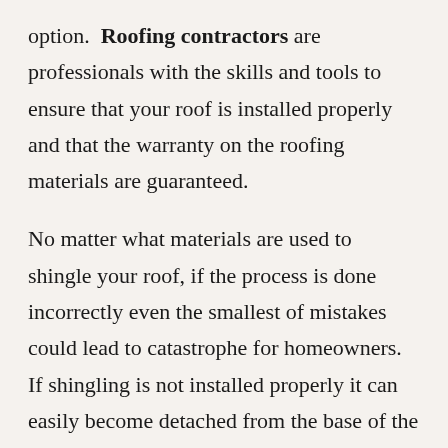option.  Roofing contractors are professionals with the skills and tools to ensure that your roof is installed properly and that the warranty on the roofing materials are guaranteed.
No matter what materials are used to shingle your roof, if the process is done incorrectly even the smallest of mistakes could lead to catastrophe for homeowners.  If shingling is not installed properly it can easily become detached from the base of the roof during high winds and extreme weather.  Once a shingle is damaged rain, snow, and ice are allowed to penetrate your roofs based and enter your home.
Every homeowner wants a bargain during